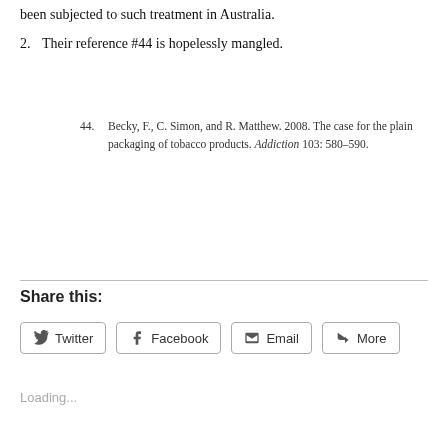been subjected to such treatment in Australia.
2. Their reference #44 is hopelessly mangled.
44. Becky, F., C. Simon, and R. Matthew. 2008. The case for the plain packaging of tobacco products. Addiction 103: 580–590.
Share this:
Twitter  Facebook  Email  More
Loading...